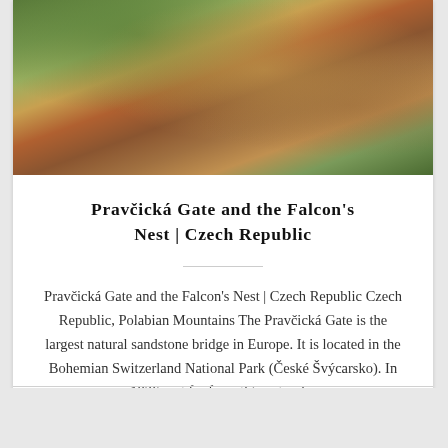[Figure (photo): Photograph of Pravčická Gate area showing rocky sandstone formations, buildings nestled under overhanging cliffs, autumn trees with orange and green foliage, and wooden walkways or fences.]
Pravčická Gate and the Falcon's Nest | Czech Republic
Pravčická Gate and the Falcon's Nest | Czech Republic Czech Republic, Polabian Mountains The Pravčická Gate is the largest natural sandstone bridge in Europe. It is located in the Bohemian Switzerland National Park (České Švýcarsko). In 1826, not far from this natural...